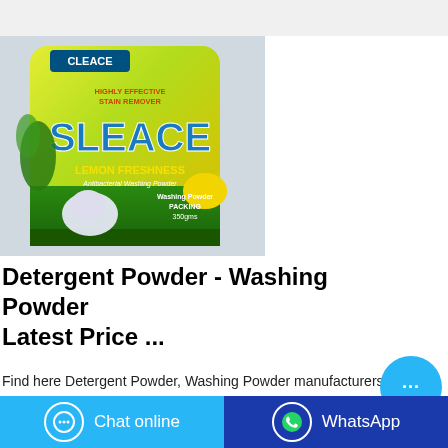[Figure (photo): Product photo of SLEACE Lemon Freshness Antibacterial Washing Powder bag, yellow-green packaging with large brand name and lemon imagery]
Detergent Powder - Washing Powder Latest Price ...
Find here Detergent Powder, Washing Powder manufacturers, suppliers, exporters in India. Get contact details & address of companies…
[Figure (infographic): Chat online button (blue) and WhatsApp button (dark blue) at bottom of page]